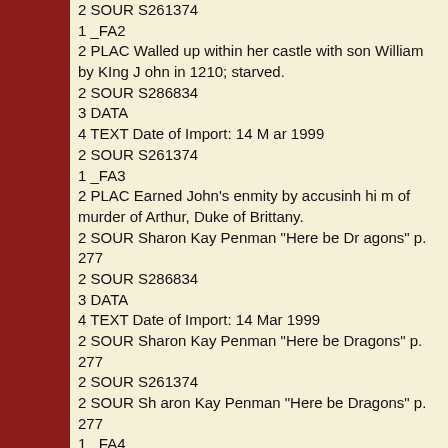2 SOUR S261374
1 _FA2
2 PLAC Walled up within her castle with son William by KIng J ohn in 1210; starved.
2 SOUR S286834
3 DATA
4 TEXT Date of Import: 14 M ar 1999
2 SOUR S261374
1 _FA3
2 PLAC Earned John's enmity by accusinh hi m of murder of Arthur, Duke of Brittany.
2 SOUR Sharon Kay Penman "Here be Dr agons" p. 277
2 SOUR S286834
3 DATA
4 TEXT Date of Import: 14 Mar 1999
2 SOUR Sharon Kay Penman "Here be Dragons" p. 277
2 SOUR S261374
2 SOUR Sh aron Kay Penman "Here be Dragons" p. 277
1 _FA4
2 PLAC Final imprisonment ended with her insanely knawing on her son William's face.
2 SOUR Sharon Kay Penman "Here be Dragons"